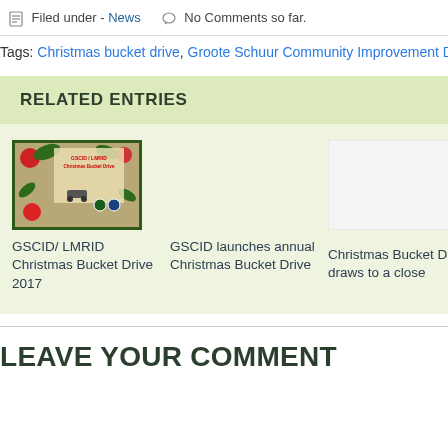Filed under - News   No Comments so far.
Tags: Christmas bucket drive, Groote Schuur Community Improvement District, gscid…
RELATED ENTRIES
[Figure (photo): Christmas Bucket Drive promotional image with festive decorations]
GSCID/ LMRID Christmas Bucket Drive 2017
GSCID launches annual Christmas Bucket Drive
[Figure (photo): Blank/white placeholder image]
Christmas Bucket Drive draws to a close
[Figure (photo): Partial view of a festive image (cut off)]
GSC… Soup…
LEAVE YOUR COMMENT